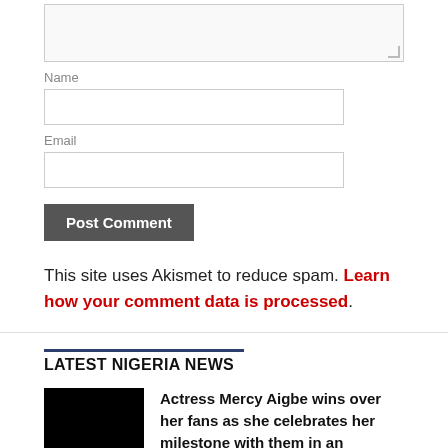[Figure (screenshot): Comment form textarea (empty, resizable)]
Name
[Figure (screenshot): Name input field (empty text box)]
Email
[Figure (screenshot): Email input field (empty text box)]
[Figure (screenshot): Post Comment button (dark gray)]
This site uses Akismet to reduce spam. Learn how your comment data is processed.
LATEST NIGERIA NEWS
Actress Mercy Aigbe wins over her fans as she celebrates her milestone with them in an unexpected way